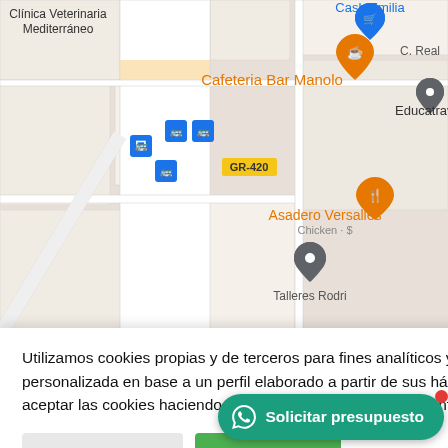[Figure (screenshot): Google Maps screenshot showing streets with labels: Clínica Veterinaria Mediterráneo, Cash Emilia, C. Real, Cafeteria Bar Manolo, GR-420, Educatravel, Asadero Versalles Chicken·$, Talleres Rodri, with various map pins and bus stop icons]
Utilizamos cookies propias y de terceros para fines analíticos y para mostrarle publicidad personalizada en base a un perfil elaborado a partir de sus hábitos de navegación. Puede aceptar las cookies haciendo clic en el botón «Aceptar» o configurarlas o rechazar su uso
CONFIGURAR
ACEPTAR
RECHAZAR
Leer más
Solicitar presupuesto